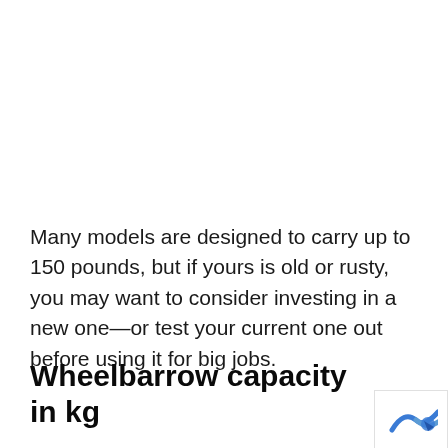Many models are designed to carry up to 150 pounds, but if yours is old or rusty, you may want to consider investing in a new one—or test your current one out before using it for big jobs.
Wheelbarrow capacity in kg